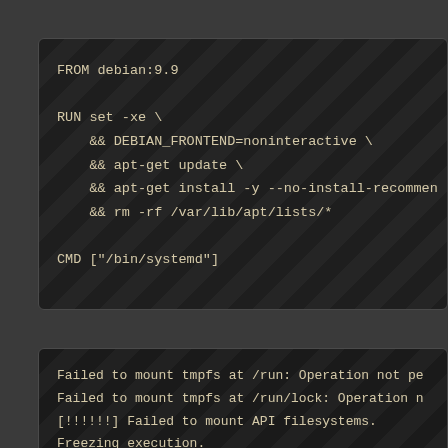[Figure (screenshot): Dark terminal/code box showing a Dockerfile snippet with FROM debian:9.9, RUN set -xe with DEBIAN_FRONTEND=noninteractive apt-get update, apt-get install -y --no-install-recommends, rm -rf /var/lib/apt/lists/*, and CMD ["/bin/systemd"]. Has diagonal stripe overlay pattern.]
[Figure (screenshot): Dark terminal output box showing error messages: Failed to mount tmpfs at /run: Operation not permitted, Failed to mount tmpfs at /run/lock: Operation not permitted, [!!!!!!] Failed to mount API filesystems., Freezing execution.]